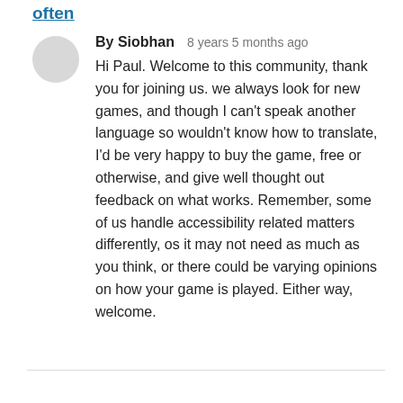often
By Siobhan   8 years 5 months ago
Hi Paul. Welcome to this community, thank you for joining us. we always look for new games, and though I can't speak another language so wouldn't know how to translate, I'd be very happy to buy the game, free or otherwise, and give well thought out feedback on what works. Remember, some of us handle accessibility related matters differently, os it may not need as much as you think, or there could be varying opinions on how your game is played. Either way, welcome.